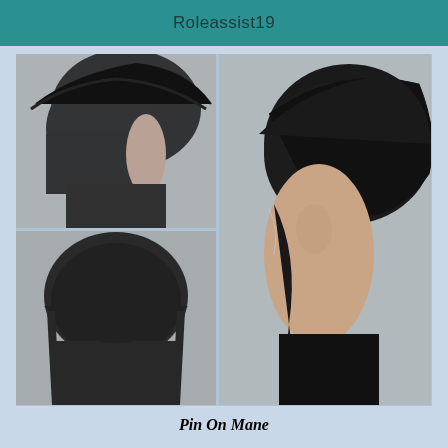Roleassist19
[Figure (photo): Three views of a woman's short dark bob haircut: top-left shows side/back view, bottom-left shows rear view, right shows close side profile view.]
Pin On Mane